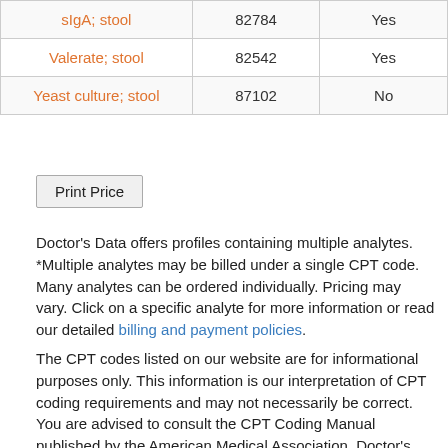| sIgA; stool | 82784 | Yes |
| Valerate; stool | 82542 | Yes |
| Yeast culture; stool | 87102 | No |
Print Price
Doctor's Data offers profiles containing multiple analytes. *Multiple analytes may be billed under a single CPT code. Many analytes can be ordered individually. Pricing may vary. Click on a specific analyte for more information or read our detailed billing and payment policies.
The CPT codes listed on our website are for informational purposes only. This information is our interpretation of CPT coding requirements and may not necessarily be correct. You are advised to consult the CPT Coding Manual published by the American Medical Association. Doctor's Data, Inc. takes no responsibility for billing errors due to your use of any CPT information from our website.